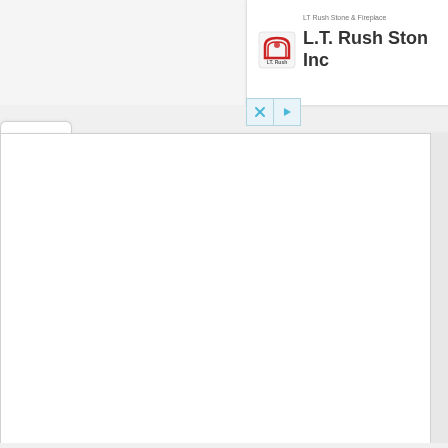[Figure (screenshot): Screenshot of a UI card/panel showing LT Rush Stone & Fireplace business listing with logo, company name 'L.T. Rush Stone Inc', close (X) and play buttons, a chevron-up tab, and a large white content panel below]
LT Rush Stone & Fireplace
L.T. Rush Stone Inc